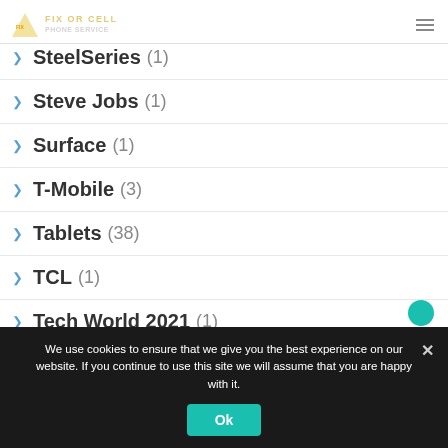Steam Deck (2)
FIX OR CELL
SteelSeries (1)
Steve Jobs (1)
Surface (1)
T-Mobile (3)
Tablets (38)
TCL (1)
Tech World 2021 (1)
We use cookies to ensure that we give you the best experience on our website. If you continue to use this site we will assume that you are happy with it.